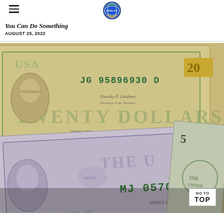DPMCeHT logo and hamburger menu
You Can Do Something
AUGUST 25, 2022
[Figure (photo): Close-up photograph of fanned-out US dollar bills including a $20 bill (serial JG 95896930 D, Series 2009) and a $5 bill (serial MJ 0570, Series 2013) showing portraits of presidents and currency details]